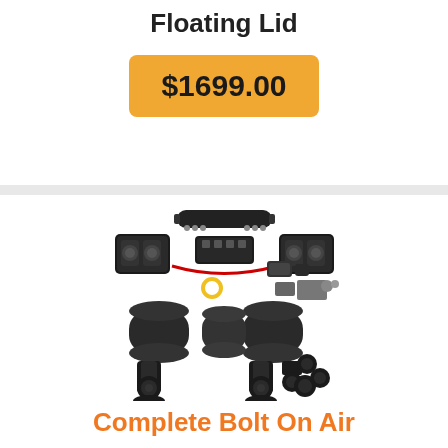Floating Lid
$1699.00
[Figure (photo): Air suspension complete bolt-on kit showing two black compressors, air tank, valve manifold, wiring harness, air bags, and mounting hardware components laid out on white background]
Complete Bolt On Air